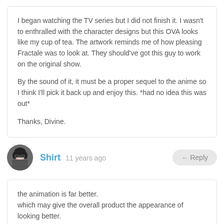I began watching the TV series but I did not finish it. I wasn't to enthralled with the character designs but this OVA looks like my cup of tea. The artwork reminds me of how pleasing Fractale was to look at. They should've got this guy to work on the original show.

By the sound of it, it must be a proper sequel to the anime so I think I'll pick it back up and enjoy this. *had no idea this was out*

Thanks, Divine.
Shirt  11 years ago
← Reply
the animation is far better.
which may give the overall product the appearance of looking better.

but the actual character design is hardly better.